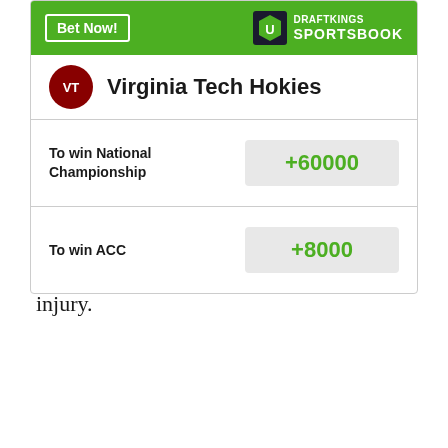exploded and scored 41 or more points in four of the last five games.
If Williams returns to the field against Duke, it will mean he should be close to 100 percent by the time the Hokies take on Georgia Tech to being their tough November stretch. It will be interesting to see how Williams will be used and how many carries he'll get coming off his injury.
[Figure (infographic): DraftKings Sportsbook betting widget for Virginia Tech Hokies showing odds: To win National Championship +60000, To win ACC +8000]